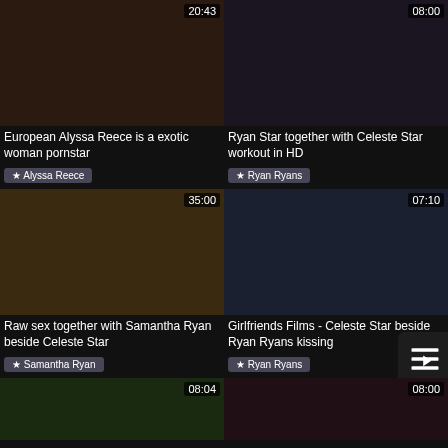[Figure (screenshot): Video thumbnail grid showing adult content video listings with thumbnails, durations, titles, and star tags]
European Alyssa Reece is a exotic woman pornstar
★ Alyssa Reece
Ryan Star together with Celeste Star workout in HD
★ Ryan Ryans
Raw sex together with Samantha Ryan beside Celeste Star
★ Samantha Ryan
Girlfriends Films - Celeste Star beside Ryan Ryans kissing
★ Ryan Ryans